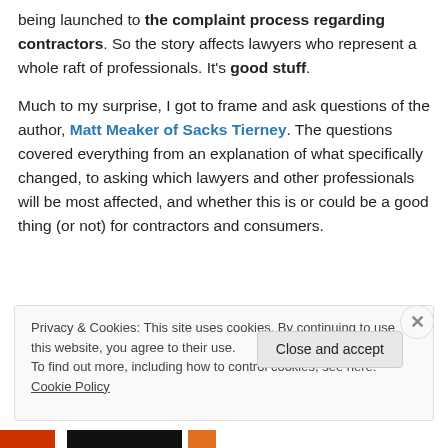being launched to the complaint process regarding contractors. So the story affects lawyers who represent a whole raft of professionals. It's good stuff.
Much to my surprise, I got to frame and ask questions of the author, Matt Meaker of Sacks Tierney. The questions covered everything from an explanation of what specifically changed, to asking which lawyers and other professionals will be most affected, and whether this is or could be a good thing (or not) for contractors and consumers.
Privacy & Cookies: This site uses cookies. By continuing to use this website, you agree to their use. To find out more, including how to control cookies, see here: Cookie Policy